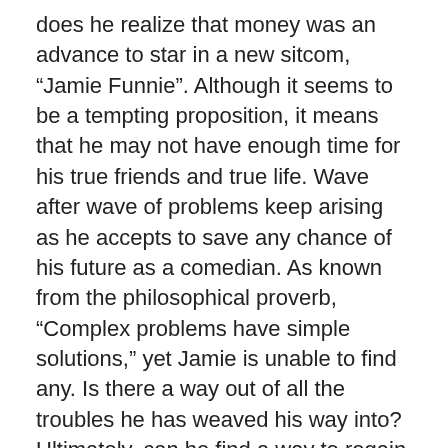does he realize that money was an advance to star in a new sitcom, “Jamie Funnie”. Although it seems to be a tempting proposition, it means that he may not have enough time for his true friends and true life. Wave after wave of problems keep arising as he accepts to save any chance of his future as a comedian. As known from the philosophical proverb, “Complex problems have simple solutions,” yet Jamie is unable to find any. Is there a way out of all the troubles he has weaved his way into? Ultimately, can he find a way to regain all he has lost and prevent all he is about to lose?
I felt that this novel was an interesting read which was, as obvious from the title, filled with humor and jokes that make one laugh out loud. The pages are well written and filled with pictures that make it a more enjoyable story. Even though this is the fourth